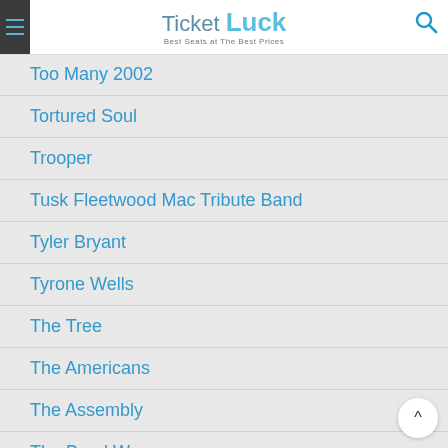TicketLuck — Best Seats at The Best Prices
Too Many 2002
Tortured Soul
Trooper
Tusk Fleetwood Mac Tribute Band
Tyler Bryant
Tyrone Wells
The Tree
The Americans
The Assembly
The Band Wagon
The Boy Friend